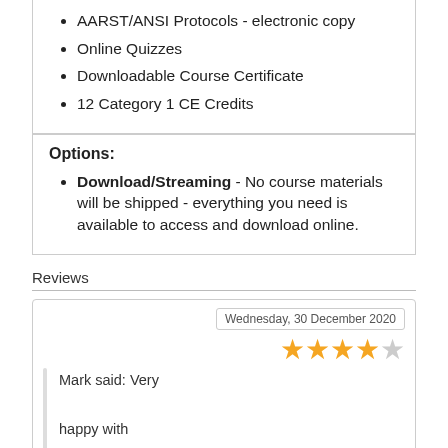AARST/ANSI Protocols - electronic copy
Online Quizzes
Downloadable Course Certificate
12 Category 1 CE Credits
Options:
Download/Streaming - No course materials will be shipped - everything you need is available to access and download online.
Reviews
Wednesday, 30 December 2020
Mark said: Very happy with course!